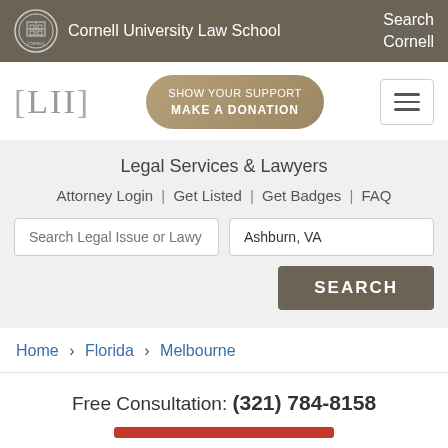Cornell University Law School | Search Cornell
[Figure (logo): LII logo with [LII] text in gray]
SHOW YOUR SUPPORT MAKE A DONATION
Legal Services & Lawyers
Attorney Login | Get Listed | Get Badges | FAQ
Search Legal Issue or Lawy | Ashburn, VA
SEARCH
Home › Florida › Melbourne
Free Consultation: (321) 784-8158